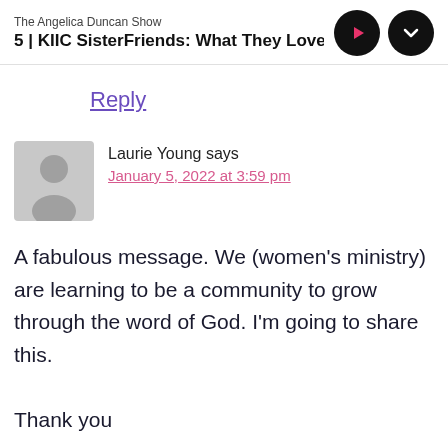The Angelica Duncan Show
5 | KIIC SisterFriends: What They Love Most (8
Reply
Laurie Young says
January 5, 2022 at 3:59 pm
A fabulous message. We (women's ministry) are learning to be a community to grow through the word of God. I'm going to share this.
Thank you